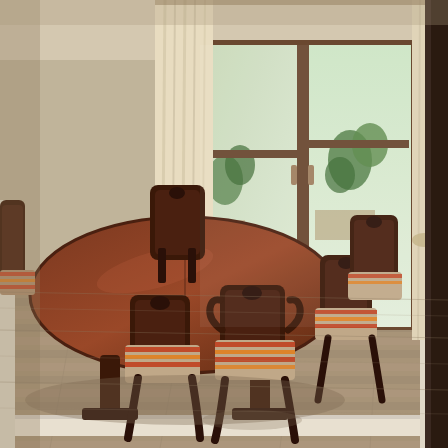[Figure (photo): Interior photograph of a dining room featuring a dark mahogany oval/round extending dining table with six matching dark wood chairs with striped upholstered seats in red, orange, and beige tones. The floor is a grey-brown laminate or LVT planks. In the background are cream/ivory floor-length curtains flanking French doors/patio doors that open onto a conservatory or garden room with visible greenery and natural light. The walls are painted a warm greige/taupe colour with white skirting boards. A dark wardrobe or unit is partially visible on the far right.]